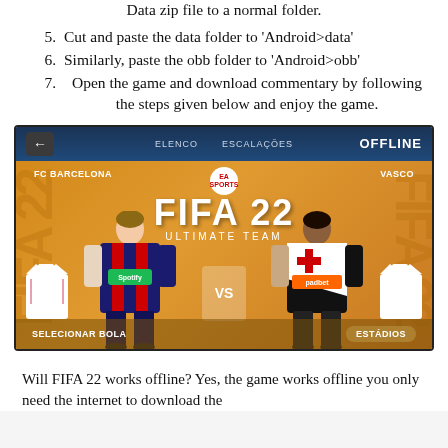Data zip file to a normal folder.
5.  Cut and paste the data folder to 'Android>data'
6.  Similarly, paste the obb folder to 'Android>obb'
7.  Open the game and download commentary by following the steps given below and enjoy the game.
[Figure (screenshot): FIFA 22 Ultimate Team mobile game screenshot showing FC Barcelona vs Vasco match setup screen with players and team jerseys, marked OFFLINE]
Will FIFA 22 works offline? Yes, the game works offline you only need the internet to download the